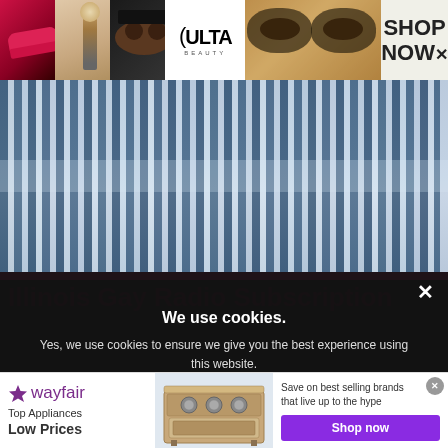[Figure (photo): ULTA Beauty advertisement banner with makeup photos (red lips, makeup brush, eye makeup, ULTA logo, eyes with dramatic makeup) and SHOP NOW text]
[Figure (photo): Close-up photo of venetian blinds or metallic vertical slats in blue-gray tones creating a striped pattern]
Illinois Gay Radio Subscription
We use cookies.
Yes, we use cookies to ensure we give you the best experience using this website.
By closing this box or clicking on the continue button, you agree to our terms of use and consent to the use of
[Figure (photo): Wayfair advertisement showing top appliances at low prices with image of a stove/range and Shop now button]